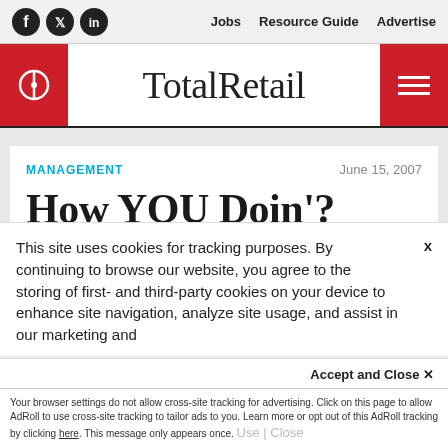TotalRetail — Jobs | Resource Guide | Advertise (with Facebook, Twitter, LinkedIn social icons)
TotalRetail
MANAGEMENT
June 15, 2007
How YOU Doin'?
This site uses cookies for tracking purposes. By continuing to browse our website, you agree to the storing of first- and third-party cookies on your device to enhance site navigation, analyze site usage, and assist in our marketing and
Accept and Close ✕
Your browser settings do not allow cross-site tracking for advertising. Click on this page to allow AdRoll to use cross-site tracking to tailor ads to you. Learn more or opt out of this AdRoll tracking by clicking here. This message only appears once.